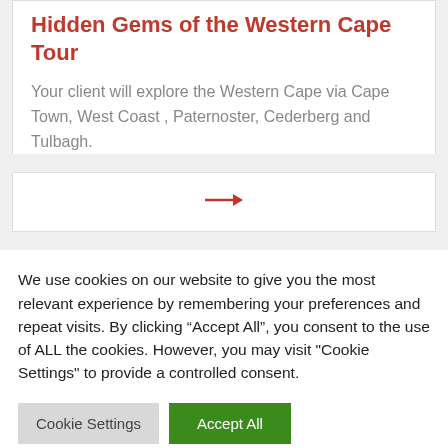Hidden Gems of the Western Cape Tour
Your client will explore the Western Cape via Cape Town,  West Coast , Paternoster, Cederberg and  Tulbagh.
[Figure (other): Red right-pointing arrow icon]
We use cookies on our website to give you the most relevant experience by remembering your preferences and repeat visits. By clicking “Accept All”, you consent to the use of ALL the cookies. However, you may visit "Cookie Settings" to provide a controlled consent.
Cookie Settings   Accept All